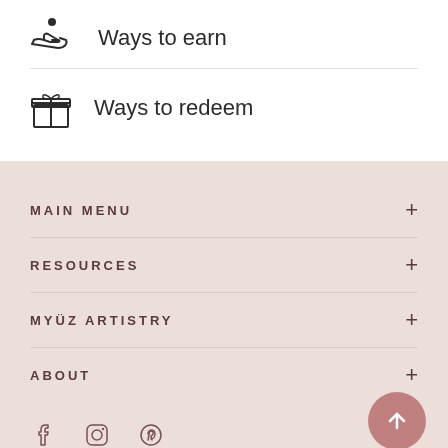Ways to earn
Ways to redeem
MAIN MENU
RESOURCES
MYÜZ ARTISTRY
ABOUT
[Figure (other): Social media icons: Facebook, Instagram, Pinterest]
[Figure (other): Back to top button arrow up]